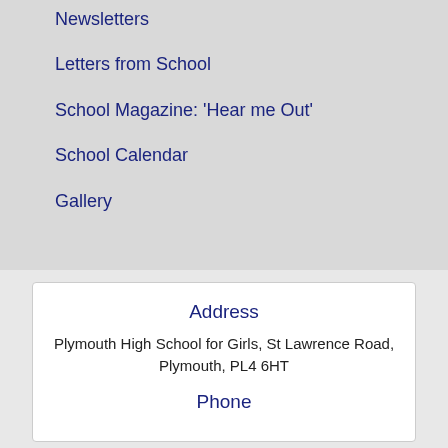Newsletters
Letters from School
School Magazine: 'Hear me Out'
School Calendar
Gallery
Address
Plymouth High School for Girls, St Lawrence Road, Plymouth, PL4 6HT
Phone